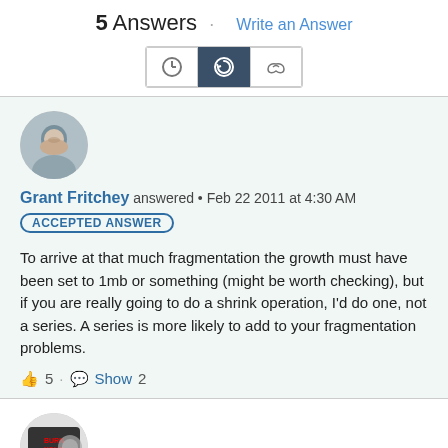5 Answers · Write an Answer
[Figure (other): Sort buttons: clock icon, history/sort icon (active, dark), thumbs up icon]
Grant Fritchey answered • Feb 22 2011 at 4:30 AM
ACCEPTED ANSWER
To arrive at that much fragmentation the growth must have been set to 1mb or something (might be worth checking), but if you are really going to do a shrink operation, I'd do one, not a series. A series is more likely to add to your fragmentation problems.
👍 5 · 💬 Show 2
Fatherjack answered • Feb 22 2011 at 4:04 AM
Is it ldf or mdf thats too big? Are you in simple mode? Is it all